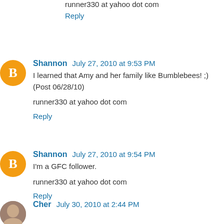runner330 at yahoo dot com
Reply
Shannon July 27, 2010 at 9:53 PM
I learned that Amy and her family like Bumblebees! ;) (Post 06/28/10)
runner330 at yahoo dot com
Reply
Shannon July 27, 2010 at 9:54 PM
I'm a GFC follower.
runner330 at yahoo dot com
Reply
Cher July 30, 2010 at 2:44 PM